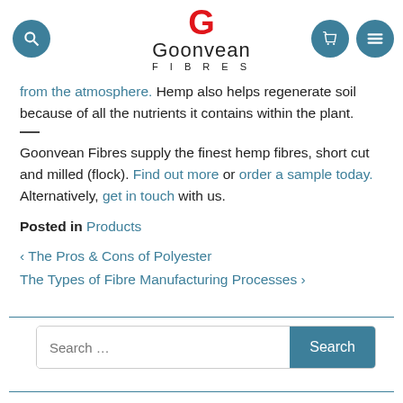[Figure (logo): Goonvean Fibres logo with red G and company name, plus navigation icons for search, basket, and menu]
from the atmosphere. Hemp also helps regenerate soil because of all the nutrients it contains within the plant.
—
Goonvean Fibres supply the finest hemp fibres, short cut and milled (flock). Find out more or order a sample today. Alternatively, get in touch with us.
Posted in Products
‹ The Pros & Cons of Polyester
The Types of Fibre Manufacturing Processes ›
Search ...